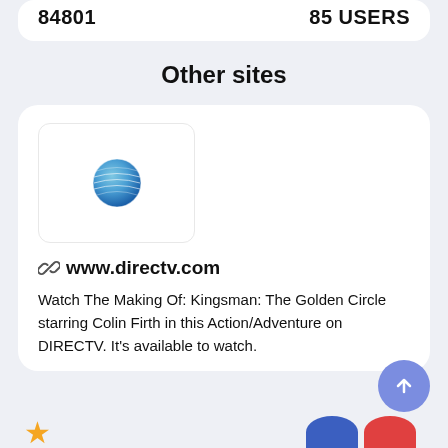84801   85 USERS
Other sites
[Figure (logo): AT&T globe logo inside a white rounded rectangle card]
www.directv.com
Watch The Making Of: Kingsman: The Golden Circle starring Colin Firth in this Action/Adventure on DIRECTV. It's available to watch.